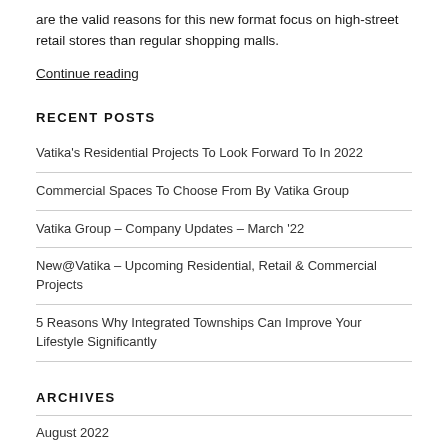are the valid reasons for this new format focus on high-street retail stores than regular shopping malls.
Continue reading
RECENT POSTS
Vatika's Residential Projects To Look Forward To In 2022
Commercial Spaces To Choose From By Vatika Group
Vatika Group – Company Updates – March '22
New@Vatika – Upcoming Residential, Retail & Commercial Projects
5 Reasons Why Integrated Townships Can Improve Your Lifestyle Significantly
ARCHIVES
August 2022